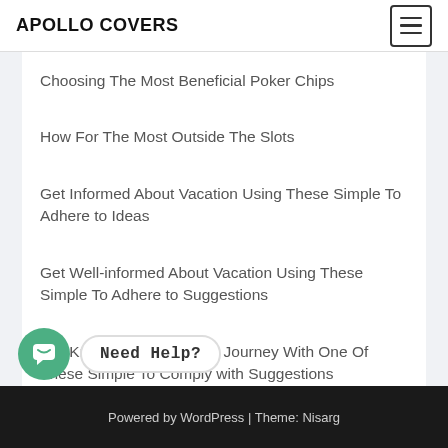APOLLO COVERS
Choosing The Most Beneficial Poker Chips
How For The Most Outside The Slots
Get Informed About Vacation Using These Simple To Adhere to Ideas
Get Well-informed About Vacation Using These Simple To Adhere to Suggestions
Get Knowledgeable About Journey With One Of These Simple To Comply with Suggestions
Powered by WordPress | Theme: Nisarg